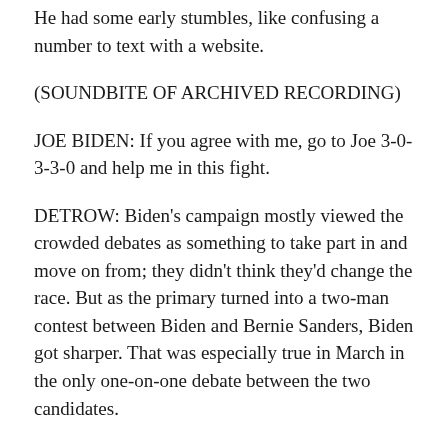He had some early stumbles, like confusing a number to text with a website.
(SOUNDBITE OF ARCHIVED RECORDING)
JOE BIDEN: If you agree with me, go to Joe 3-0-3-3-0 and help me in this fight.
DETROW: Biden's campaign mostly viewed the crowded debates as something to take part in and move on from; they didn't think they'd change the race. But as the primary turned into a two-man contest between Biden and Bernie Sanders, Biden got sharper. That was especially true in March in the only one-on-one debate between the two candidates.
(SOUNDBITE OF ARCHIVED RECORDING)